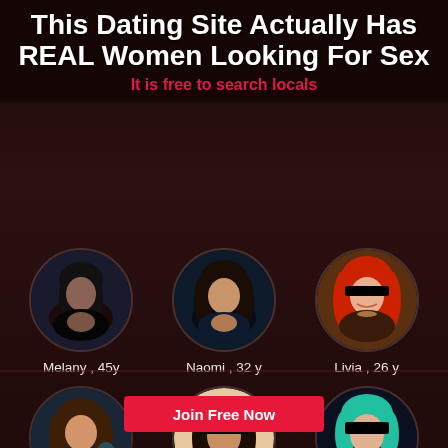This Dating Site Actually Has REAL Women Looking For Sex
It is free to search locals
[Figure (infographic): Six circular profile photos of women with names and ages: Melany 45y, Naomi 32y, Livia 26y, Averie 36y, Malaya 38y, Adalyn 32y]
Melany , 45y
Naomi , 32 y
Livia , 26 y
Averie , 36 y
Malaya , 38 y
Adalyn , 32 y
Join Free Now